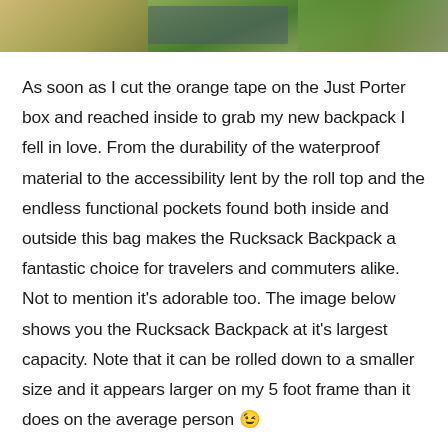[Figure (photo): Partial photo strip at top of page showing outdoor scene with foliage and what appears to be a dark object, cropped at top edge.]
As soon as I cut the orange tape on the Just Porter box and reached inside to grab my new backpack I fell in love. From the durability of the waterproof material to the accessibility lent by the roll top and the endless functional pockets found both inside and outside this bag makes the Rucksack Backpack a fantastic choice for travelers and commuters alike. Not to mention it's adorable too. The image below shows you the Rucksack Backpack at it's largest capacity. Note that it can be rolled down to a smaller size and it appears larger on my 5 foot frame than it does on the average person 😉